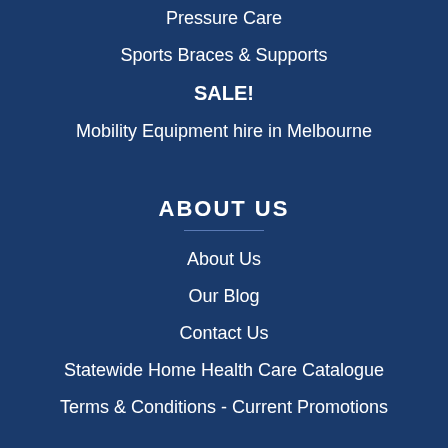Pressure Care
Sports Braces & Supports
SALE!
Mobility Equipment hire in Melbourne
ABOUT US
About Us
Our Blog
Contact Us
Statewide Home Health Care Catalogue
Terms & Conditions - Current Promotions
INFORMATION